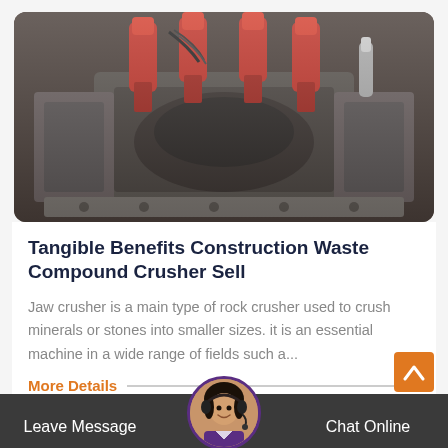[Figure (photo): Industrial compound crusher machine with red hydraulic cylinders and dark grey body, viewed from front-top angle]
Tangible Benefits Construction Waste Compound Crusher Sell
Jaw crusher is a main type of rock crusher used to crush minerals or stones into smaller sizes. it is an essential machine in a wide range of fields such a...
More Details
Leave Message   Chat Online